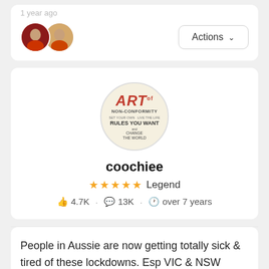1 year ago
[Figure (photo): Two circular avatar photos of users side by side, and an Actions button with chevron on the right]
[Figure (logo): Art of Non-Conformity circular logo with text: ART of NON-CONFORMITY, SET YOUR OWN RULES YOU WANT and CHANGE THE WORLD]
coochiee
★★★★★ Legend
4.7K · 13K · over 7 years
People in Aussie are now getting totally sick & tired of these lockdowns. Esp VIC & NSW where they have dragged on for weeks. Luckily in SE